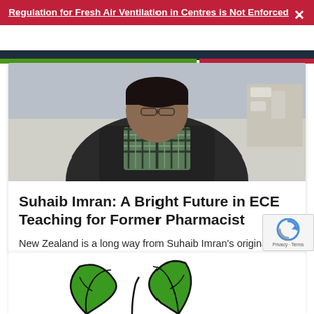Regulation for Fresh Air Ventilation in Centres is Not Enforced
[Figure (photo): Photo of a person (Suhaib Imran) seated indoors, wearing a dark jacket over a plaid shirt, with shelving/furniture visible in background]
Suhaib Imran: A Bright Future in ECE Teaching for Former Pharmacist
New Zealand is a long way from Suhaib Imran's original home in India, and early childhood is a long way from his original career as
READ MORE »
[Figure (illustration): Partial illustration at the bottom of the page showing green leaf/plant graphic with black outlines on white background]